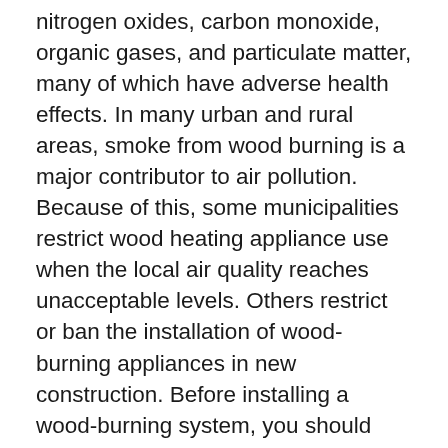nitrogen oxides, carbon monoxide, organic gases, and particulate matter, many of which have adverse health effects. In many urban and rural areas, smoke from wood burning is a major contributor to air pollution. Because of this, some municipalities restrict wood heating appliance use when the local air quality reaches unacceptable levels. Others restrict or ban the installation of wood-burning appliances in new construction. Before installing a wood-burning system, you should contact your local building codes department, state energy office, or state environmental agency about wood-burning regulations that may apply in your area.
If you have an older wood-burning appliance, consider upgrading to one of the newer appliances certified by the U.S. Environmental Protection Agency (EPA). They include a catalytic combustor that allows combustion gases to burn at lower